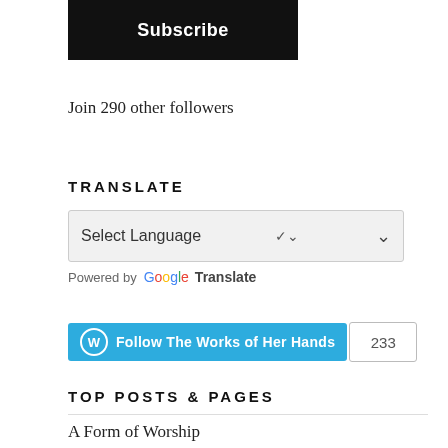[Figure (screenshot): Black Subscribe button]
Join 290 other followers
TRANSLATE
[Figure (screenshot): Select Language dropdown widget powered by Google Translate]
[Figure (screenshot): WordPress Follow button: Follow The Works of Her Hands, count 233]
TOP POSTS & PAGES
A Form of Worship